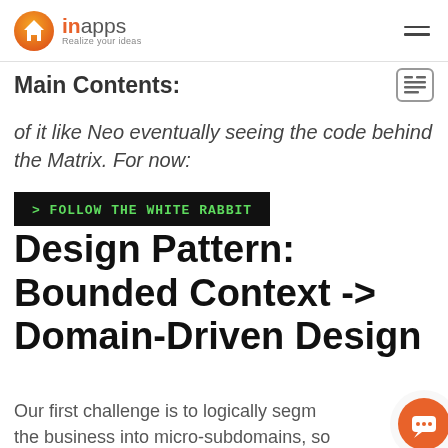inapps - Realize your ideas
Main Contents:
of it like Neo eventually seeing the code behind the Matrix. For now:
> FOLLOW THE WHITE RABBIT
Design Pattern: Bounded Context -> Domain-Driven Design
Our first challenge is to logically segm... the business into micro-subdomains, so